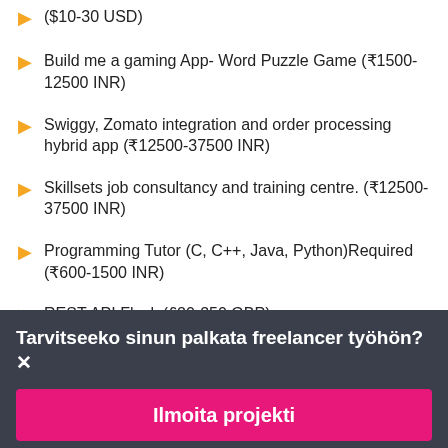($10-30 USD)
Build me a gaming App- Word Puzzle Game (₹1500-12500 INR)
Swiggy, Zomato integration and order processing hybrid app (₹12500-37500 INR)
Skillsets job consultancy and training centre. (₹12500-37500 INR)
Programming Tutor (C, C++, Java, Python)Required (₹600-1500 INR)
REST API Flask (£20-250 GBP)
Video Compressor Application (₹1500-12500 INR)
Tarvitseeko sinun palkata freelancer työhön?
Ilmoita projekti